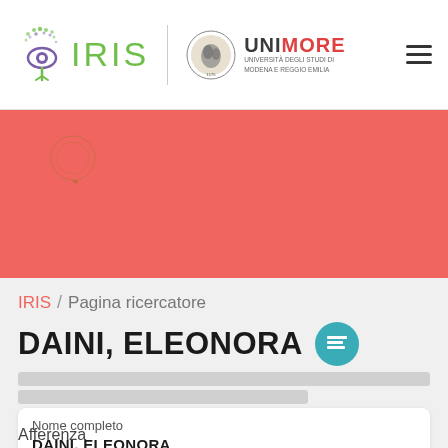[Figure (logo): IRIS logo with green stylized eye icon and green IRIS text]
[Figure (logo): UNIMORE Università degli Studi di Modena e Reggio Emilia logo with seal]
[Figure (illustration): Red/salmon banner with Forum Mutinae circular text logo]
IRIS / Pagina ricercatore
DAINI, ELEONORA
Nome completo
DAINI, ELEONORA
Afferenza